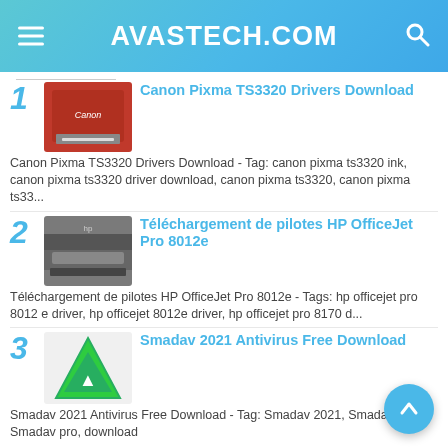AVASTECH.COM
Canon Pixma TS3320 Drivers Download - Tag: canon pixma ts3320 ink, canon pixma ts3320 driver download, canon pixma ts3320, canon pixma ts33...
Téléchargement de pilotes HP OfficeJet Pro 8012e - Tags: hp officejet pro 8012 e driver, hp officejet 8012e driver, hp officejet pro 8170 d...
Smadav 2021 Antivirus Free Download - Tag: Smadav 2021, Smadav 2021, Smadav pro, download...